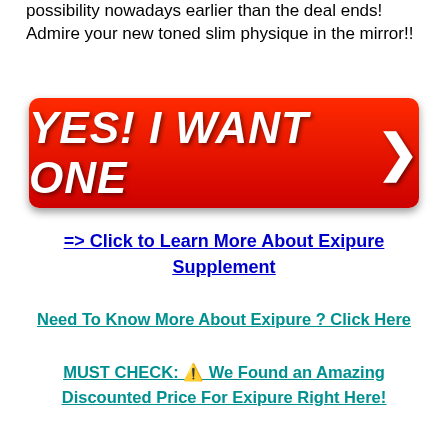possibility nowadays earlier than the deal ends! Admire your new toned slim physique in the mirror!!
[Figure (other): Red call-to-action button with white italic bold text 'YES! I WANT ONE' and a right-pointing arrow chevron on the right side]
=> Click to Learn More About Exipure Supplement
Need To Know More About Exipure ? Click Here
MUST CHECK: ⚠ We Found an Amazing Discounted Price For Exipure Right Here!